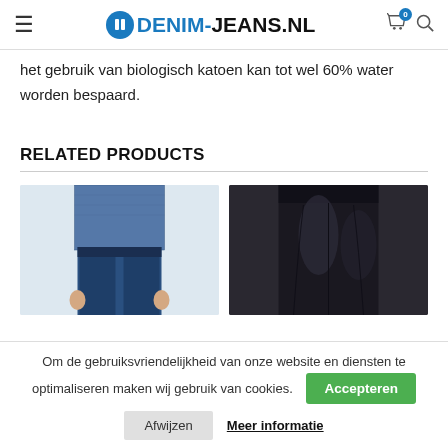DENIM-JEANS.NL
het gebruik van biologisch katoen kan tot wel 60% water worden bespaard.
RELATED PRODUCTS
[Figure (photo): Two product photos side by side: left shows a person wearing dark blue denim jeans with a denim shirt, right shows dark/black coated jeans close-up.]
Om de gebruiksvriendelijkheid van onze website en diensten te optimaliseren maken wij gebruik van cookies.